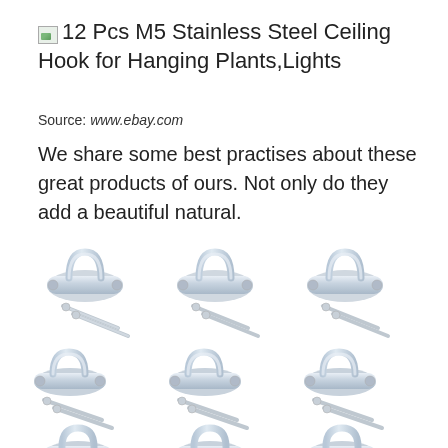12 Pcs M5 Stainless Steel Ceiling Hook for Hanging Plants,Lights
Source: www.ebay.com
We share some best practises about these great products of ours. Not only do they add a beautiful natural.
[Figure (photo): Grid of 9 stainless steel M5 ceiling hook pad eyes with screws, arranged in 3 columns and 3 rows (partially visible bottom row), showing chrome/silver finish hooks with mounting plates and accompanying screws]